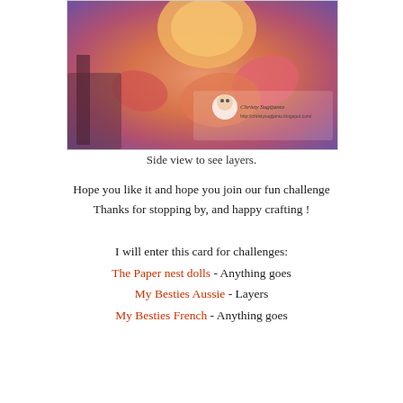[Figure (photo): A crafted card with colorful flowers and shells, side view showing layers, with a watermark reading 'Christy Sugijanto' and a small character illustration.]
Side view to see layers.
Hope you like it and hope you join our fun challenge
Thanks for stopping by, and happy crafting !
I will enter this card for challenges:
The Paper nest dolls - Anything goes
My Besties Aussie - Layers
My Besties French - Anything goes